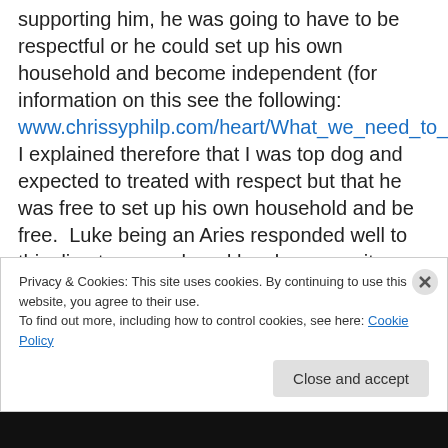supporting him, he was going to have to be respectful or he could set up his own household and become independent (for information on this see the following: www.chrissyphilp.com/heart/What_we_need_to_know_%28I_think%29....html).  I explained therefore that I was top dog and expected to treated with respect but that he was free to set up his own household and be free.  Luke being an Aries responded well to this direct approach and has been a quite brilliantly helpful and dutiful son ever since.  He said he found it very helpful to have it clearly spelled out.  I realised in this, the nature of our interdependence.  I
Privacy & Cookies: This site uses cookies. By continuing to use this website, you agree to their use.
To find out more, including how to control cookies, see here: Cookie Policy